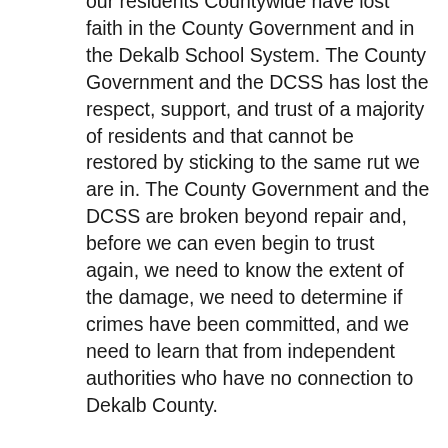our residents Countywide have lost faith in the County Government and in the Dekalb School System. The County Government and the DCSS has lost the respect, support, and trust of a majority of residents and that cannot be restored by sticking to the same rut we are in. The County Government and the DCSS are broken beyond repair and, before we can even begin to trust again, we need to know the extent of the damage, we need to determine if crimes have been committed, and we need to learn that from independent authorities who have no connection to Dekalb County.
For now, we need to go to the polls on July 22, 2014, and vote for change. All of us have a stake in bringing change to Dekalb County or we will